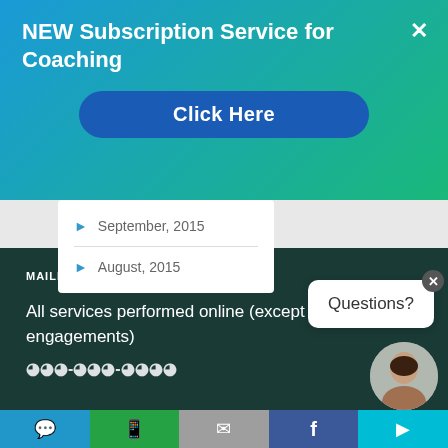NEW Subscription Service for Coaching
Click Here
September, 2015
August, 2015
MAILING ADDRESS
All services performed online (except engagements)
Questions?
Bottom navigation bar with icons